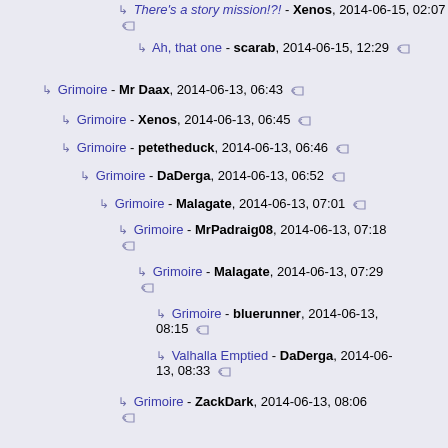There's a story mission!?! - Xenos, 2014-06-15, 02:07
Ah, that one - scarab, 2014-06-15, 12:29
Grimoire - Mr Daax, 2014-06-13, 06:43
Grimoire - Xenos, 2014-06-13, 06:45
Grimoire - petetheduck, 2014-06-13, 06:46
Grimoire - DaDerga, 2014-06-13, 06:52
Grimoire - Malagate, 2014-06-13, 07:01
Grimoire - MrPadraig08, 2014-06-13, 07:18
Grimoire - Malagate, 2014-06-13, 07:29
Grimoire - bluerunner, 2014-06-13, 08:15
Valhalla Emptied - DaDerga, 2014-06-13, 08:33
Grimoire - ZackDark, 2014-06-13, 08:06
Grimoire - Malagate, 2014-06-13, 08:10
Grimoire - stabbim, 2014-06-13, 11:29